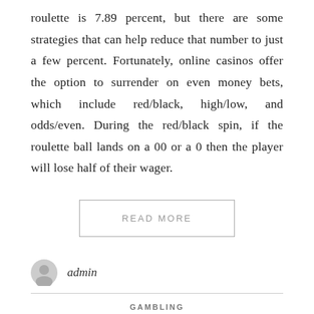roulette is 7.89 percent, but there are some strategies that can help reduce that number to just a few percent. Fortunately, online casinos offer the option to surrender on even money bets, which include red/black, high/low, and odds/even. During the red/black spin, if the roulette ball lands on a 00 or a 0 then the player will lose half of their wager.
READ MORE
admin
GAMBLING
How to Win in a Slots